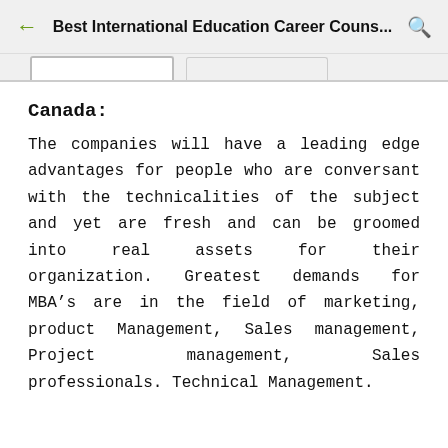Best International Education Career Couns...
Canada:
The companies will have a leading edge advantages for people who are conversant with the technicalities of the subject and yet are fresh and can be groomed into real assets for their organization. Greatest demands for MBA’s are in the field of marketing, product Management, Sales management, Project management, Sales professionals. Technical Management.